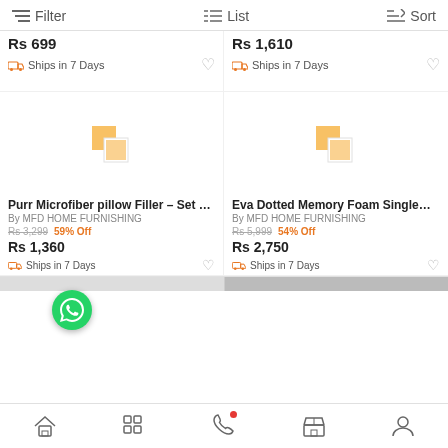Filter  List  Sort
Rs 699 | Ships in 7 Days
Rs 1,610 | Ships in 7 Days
[Figure (other): Product image placeholder for Purr Microfiber pillow Filler]
[Figure (other): Product image placeholder for Eva Dotted Memory Foam Single]
Purr Microfiber pillow Filler – Set ... By MFD HOME FURNISHING Rs 3,299 59% Off Rs 1,360 Ships in 7 Days
Eva Dotted Memory Foam Single... By MFD HOME FURNISHING Rs 5,999 54% Off Rs 2,750 Ships in 7 Days
Home | Grid | Phone | Store | Profile